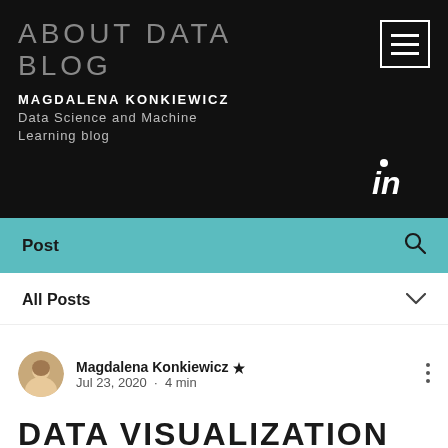ABOUT DATA BLOG
MAGDALENA KONKIEWICZ
Data Science and Machine Learning blog
[Figure (logo): LinkedIn 'in' icon logo in white on dark background]
Post
All Posts
Magdalena Konkiewicz 👑
Jul 23, 2020 · 4 min
DATA VISUALIZATION WITH